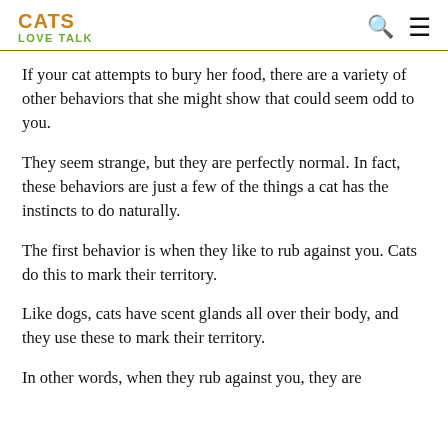CATS LOVE TALK
If your cat attempts to bury her food, there are a variety of other behaviors that she might show that could seem odd to you.
They seem strange, but they are perfectly normal. In fact, these behaviors are just a few of the things a cat has the instincts to do naturally.
The first behavior is when they like to rub against you. Cats do this to mark their territory.
Like dogs, cats have scent glands all over their body, and they use these to mark their territory.
In other words, when they rub against you, they are...